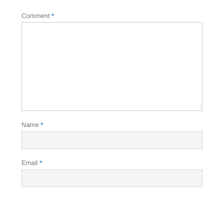Comment *
[Figure (other): Empty textarea input field for comment]
Name *
[Figure (other): Empty text input field for name]
Email *
[Figure (other): Empty text input field for email]